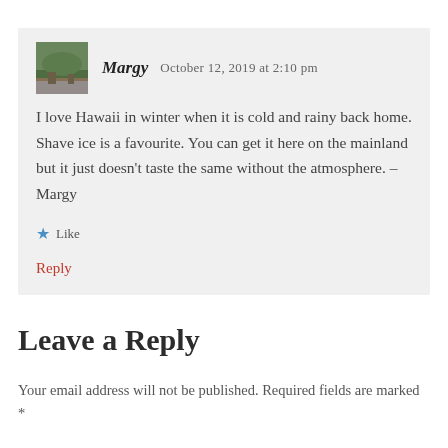[Figure (photo): Avatar image of Margy showing a green landscape/nature scene]
Margy   October 12, 2019 at 2:10 pm
I love Hawaii in winter when it is cold and rainy back home. Shave ice is a favourite. You can get it here on the mainland but it just doesn't taste the same without the atmosphere. – Margy
★ Like
Reply
Leave a Reply
Your email address will not be published. Required fields are marked *